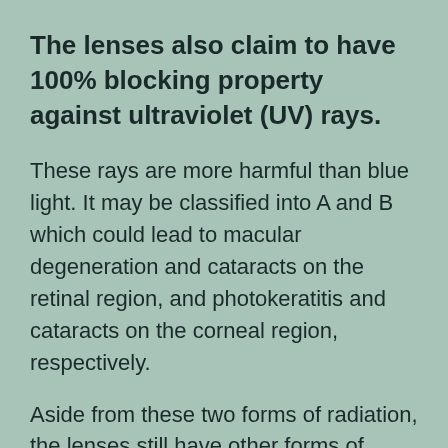The lenses also claim to have 100% blocking property against ultraviolet (UV) rays.
These rays are more harmful than blue light. It may be classified into A and B which could lead to macular degeneration and cataracts on the retinal region, and photokeratitis and cataracts on the corneal region, respectively.
Aside from these two forms of radiation, the lenses still have other forms of electromagnetic radiation that could be blocked. The lenses also claim to have flicker ation...